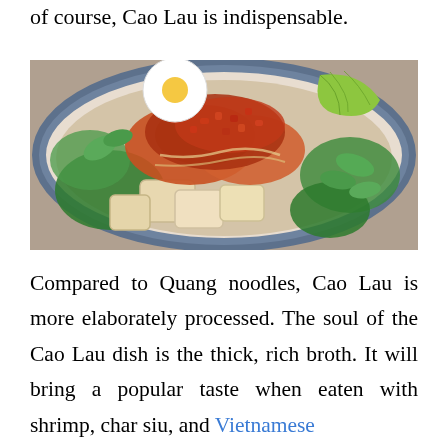of course, Cao Lau is indispensable.
[Figure (photo): A bowl of Cao Lau dish viewed from above, showing thick noodles topped with red braised pork, pork crackling, fresh herbs, a halved boiled egg, and a lime wedge, served in a blue and white ceramic bowl.]
Compared to Quang noodles, Cao Lau is more elaborately processed. The soul of the Cao Lau dish is the thick, rich broth. It will bring a popular taste when eaten with shrimp, char siu, and Vietnamese